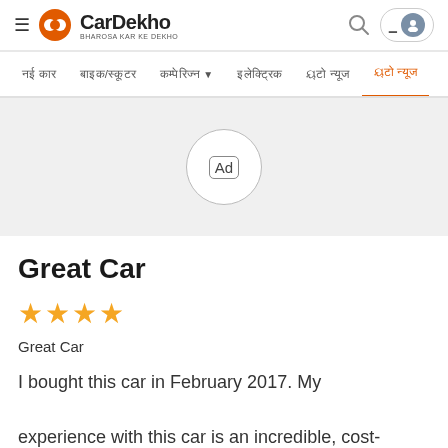[Figure (logo): CarDekho logo with hamburger menu, orange circle logo icon, CarDekho brand name, search icon and user button on the right]
नई कार   बाइक/स्कूटर   कम्पेरिज्न ▼   इलेक्ट्रिक   ऑटो न्यूज   ऑटो न्यूज
[Figure (other): Ad placeholder - light grey banner with a circle containing 'Ad' text]
Great Car
[Figure (other): 4 orange star rating]
Great Car
I bought this car in February 2017. My experience with this car is an incredible, cost-